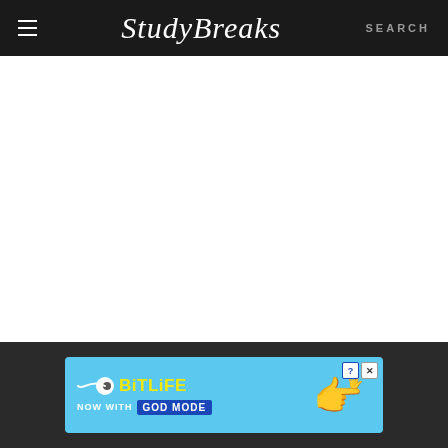Study Breaks | SEARCH
Relatedly, plaid is also slowing stepping down,
[Figure (infographic): BitLife advertisement banner: 'BitLife - Now with God Mode' with hand pointing gesture on blue background]